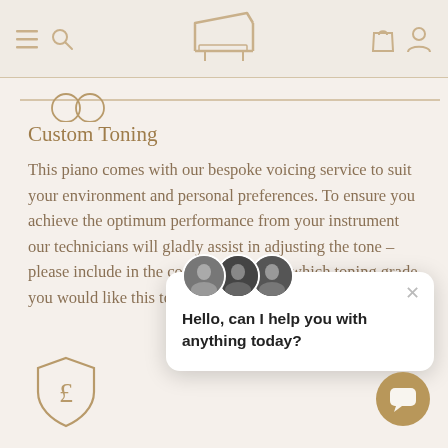Navigation header with hamburger menu, search icon, piano logo, bag icon, and user icon
[Figure (illustration): Decorative horizontal line with two overlapping circle outlines on the left, in gold/tan color]
Custom Toning
This piano comes with our bespoke voicing service to suit your environment and personal preferences. To ensure you achieve the optimum performance from your instrument our technicians will gladly assist in adjusting the tone – please include in the comments section which toning grade you would like this to be.
[Figure (screenshot): Chat popup overlay with two avatar photos, close X button, and message: Hello, can I help you with anything today?]
[Figure (illustration): Gold circular chat button with speech bubble icon in bottom right corner]
[Figure (illustration): Shield icon with pound sterling symbol inside, in gold outline style, bottom left]